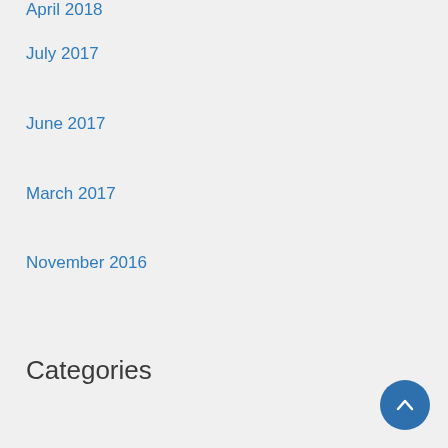April 2018
July 2017
June 2017
March 2017
November 2016
Categories
Academic
Academic Calendar
Accounts Office
Admission
Admission News
Annual Report
Bulletin